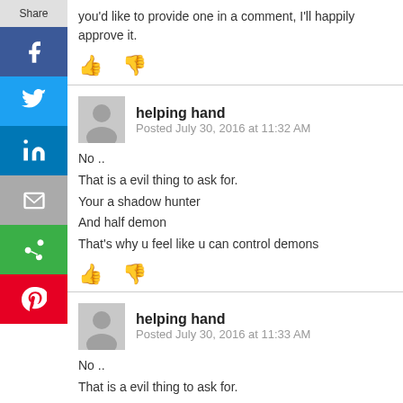you'd like to provide one in a comment, I'll happily approve it.
👍 👎
helping hand
Posted July 30, 2016 at 11:32 AM
No ..
That is a evil thing to ask for.
Your a shadow hunter
And half demon
That's why u feel like u can control demons
👍 👎
helping hand
Posted July 30, 2016 at 11:33 AM
No ..
That is a evil thing to ask for.
Your a shadow hunter
And half demon
That's why u feel like u can control demons